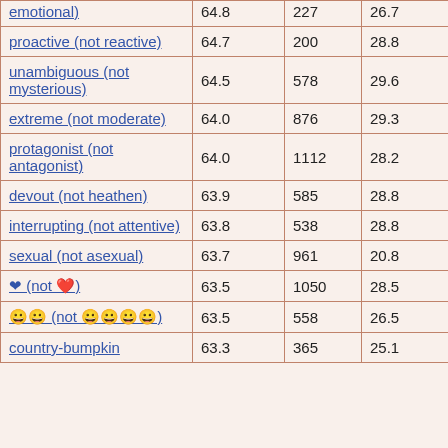| emotional) | 64.8 | 227 | 26.7 | 36 |
| proactive (not reactive) | 64.7 | 200 | 28.8 | 42 |
| unambiguous (not mysterious) | 64.5 | 578 | 29.6 | 25 |
| extreme (not moderate) | 64.0 | 876 | 29.3 | 25 |
| protagonist (not antagonist) | 64.0 | 1112 | 28.2 | 38 |
| devout (not heathen) | 63.9 | 585 | 28.8 | 22 |
| interrupting (not attentive) | 63.8 | 538 | 28.8 | 33 |
| sexual (not asexual) | 63.7 | 961 | 20.8 | 31 |
| ❤ (not ❤️) | 63.5 | 1050 | 28.5 | 25 |
| 😀 (not 😀😀) | 63.5 | 558 | 26.5 | 22 |
| country-bumpkin ... | 63.3 | 365 | 25.1 | 23 |